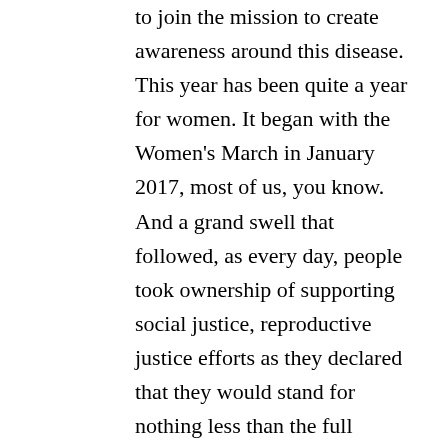to join the mission to create awareness around this disease. This year has been quite a year for women. It began with the Women's March in January 2017, most of us, you know. And a grand swell that followed, as every day, people took ownership of supporting social justice, reproductive justice efforts as they declared that they would stand for nothing less than the full protection of their rights, their health, their safety, and their families. We are in the midst of a global feminist movement that called out the Whisper network and brought issues into the open. #MeToo, Time's Up, and the Women's March have mobilized a nation of women, let's include men also, please. As suggested by my daughter, also. And inspired the real change. An infectious nuclear shift in the consciences